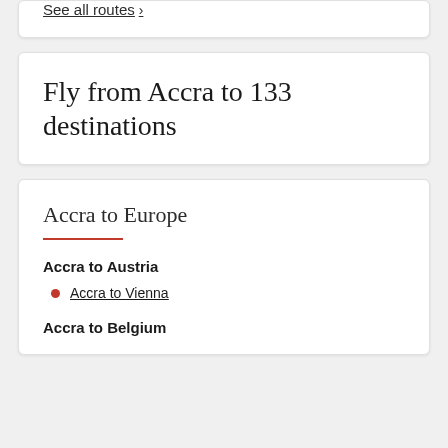See all routes →
Fly from Accra to 133 destinations
Accra to Europe
Accra to Austria
Accra to Vienna
Accra to Belgium